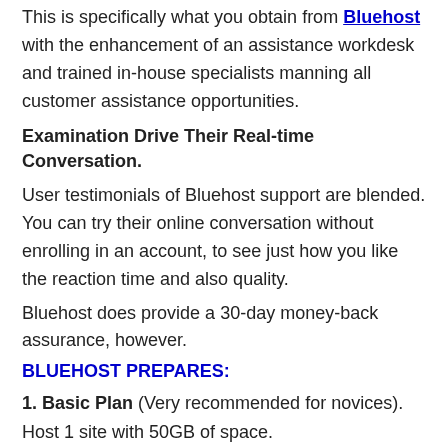This is specifically what you obtain from Bluehost with the enhancement of an assistance workdesk and trained in-house specialists manning all customer assistance opportunities.
Examination Drive Their Real-time Conversation.
User testimonials of Bluehost support are blended. You can try their online conversation without enrolling in an account, to see just how you like the reaction time and also quality.
Bluehost does provide a 30-day money-back assurance, however.
BLUEHOST PREPARES:
1. Basic Plan (Very recommended for novices).
Host 1 site with 50GB of space.
Unmetered transmission capacity.
5 e-mail accounts with 100MB per account.
The Plus, Prime, and also Pro plans will certainly benefit you if you